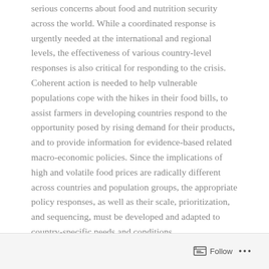serious concerns about food and nutrition security across the world. While a coordinated response is urgently needed at the international and regional levels, the effectiveness of various country-level responses is also critical for responding to the crisis. Coherent action is needed to help vulnerable populations cope with the hikes in their food bills, to assist farmers in developing countries respond to the opportunity posed by rising demand for their products, and to provide information for evidence-based related macro-economic policies. Since the implications of high and volatile food prices are radically different across countries and population groups, the appropriate policy responses, as well as their scale, prioritization, and sequencing, must be developed and adapted to country-specific needs and conditions.
Follow ...